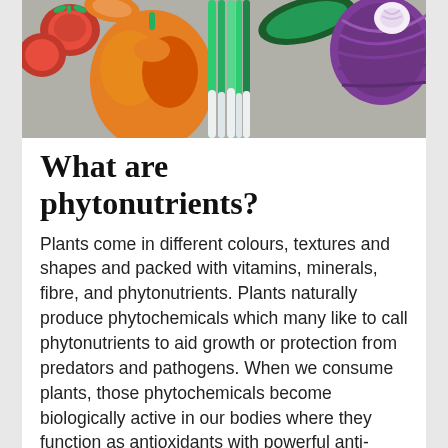[Figure (photo): Overhead photo of colourful vegetables including red tomatoes, orange bell pepper, green spring onions, cucumber, and a halved red cabbage arranged on a grey surface.]
What are phytonutrients?
Plants come in different colours, textures and shapes and packed with vitamins, minerals, fibre, and phytonutrients. Plants naturally produce phytochemicals which many like to call phytonutrients to aid growth or protection from predators and pathogens. When we consume plants, those phytochemicals become biologically active in our bodies where they function as antioxidants with powerful anti-inflammatory